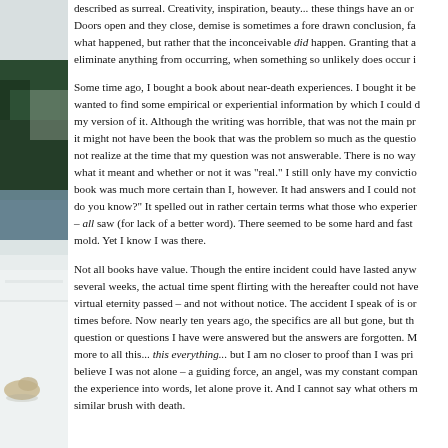[Figure (photo): Outdoor winter/lakeside landscape photo showing snow-covered ground, trees (evergreens), and a body of water with a structure partially visible in the background. A light-colored animal (possibly a dog) is visible in the lower portion of the image.]
described as surreal. Creativity, inspiration, beauty... these things have an or... Doors open and they close, demise is sometimes a fore drawn conclusion, fa... what happened, but rather that the inconceivable did happen. Granting that a... eliminate anything from occurring, when something so unlikely does occur i...

Some time ago, I bought a book about near-death experiences. I bought it be... wanted to find some empirical or experiential information by which I could d... my version of it. Although the writing was horrible, that was not the main pr... it might not have been the book that was the problem so much as the questio... not realize at the time that my question was not answerable. There is no way... what it meant and whether or not it was "real." I still only have my convictio... book was much more certain than I, however. It had answers and I could not... do you know?" It spelled out in rather certain terms what those who experier... – all saw (for lack of a better word). There seemed to be some hard and fast ... mold. Yet I know I was there.

Not all books have value. Though the entire incident could have lasted anyw... several weeks, the actual time spent flirting with the hereafter could not have... virtual eternity passed – and not without notice. The accident I speak of is or... times before. Now nearly ten years ago, the specifics are all but gone, but th... question or questions I have were answered but the answers are forgotten. M... more to all this... this everything... but I am no closer to proof than I was pri... believe I was not alone – a guiding force, an angel, was my constant compan... the experience into words, let alone prove it. And I cannot say what others m... similar brush with death.